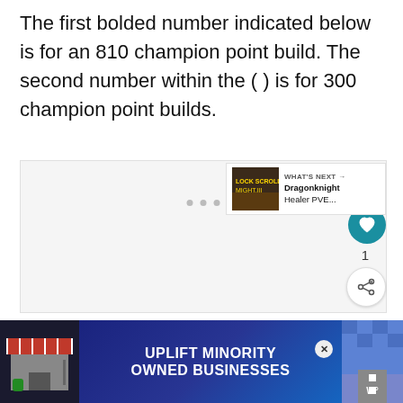The first bolded number indicated below is for an 810 champion point build. The second number within the ( ) is for 300 champion point builds.
[Figure (screenshot): A content area with a light gray background showing a slideshow or image placeholder with three dot indicators at the bottom. On the right side there is a heart/like button (teal circle with heart icon), a like count of 1, and a share button (circle with share icon). In the lower right is a 'What's Next' panel showing a thumbnail for 'Dragonknight Healer PVE...'.]
[Figure (infographic): Advertisement banner at the bottom with dark background. Shows a storefront illustration on the left, 'UPLIFT MINORITY OWNED BUSINESSES' text in the center on a dark blue gradient background, a close (X) button, and a checkered/road image on the right with a weather app icon.]